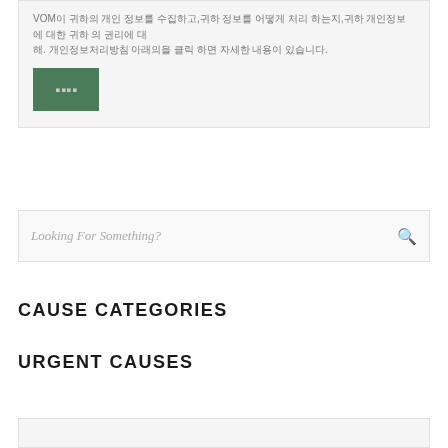VOM이 귀하의 개인 정보를 수집하고,귀하 정보를 어떻게 처리 하는지,귀하 개인정보에 대한 귀하 의 권리에 대해. 개인정보처리방침 아래의을 클릭 하면 자세한 내용이 있습니다.
[Figure (screenshot): Green button with Korean text]
Looking For Something?
CAUSE CATEGORIES
URGENT CAUSES